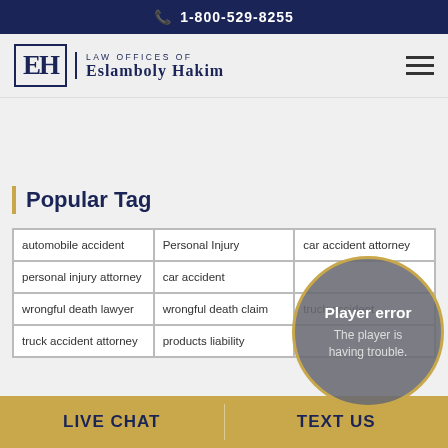1-800-529-8255
[Figure (logo): Law Offices of Eslamboly Hakim logo with EH monogram]
Popular Tag
automobile accident | Personal Injury | car accident attorney | personal injury attorney | car accident | wrongful death lawyer | wrongful death claim | truck accident | truck accident attorney | products liability
[Figure (other): Player error overlay circle with text: Player error - The player is having trouble.]
LIVE CHAT   TEXT US